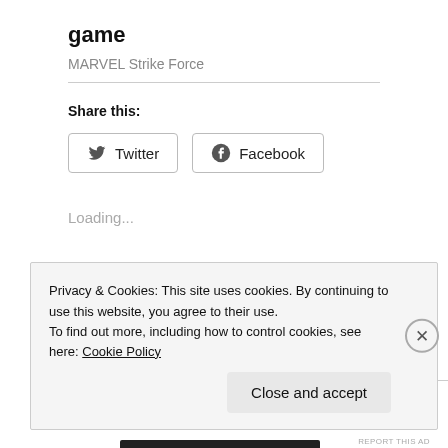game
MARVEL Strike Force
Share this:
[Figure (other): Twitter share button with bird icon]
[Figure (other): Facebook share button with F icon]
Loading...
Uncategorized
Privacy & Cookies: This site uses cookies. By continuing to use this website, you agree to their use.
To find out more, including how to control cookies, see here: Cookie Policy
Close and accept